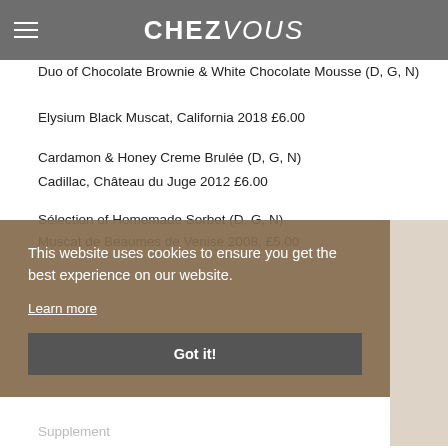CHEZ VOUS
La Truffière, Monbazillac 2012, £6.00
Duo of Chocolate Brownie & White Chocolate Mousse (D, G, N)
Elysium Black Muscat, California 2018 £6.00
Cardamon & Honey Creme Brulée (D, G, N)
Cadillac, Château du Juge 2012 £6.00
Sélection of Homemade Sorbet (D, G, N)
Muscat de Beaumes de Venise 2008, £5.00
This website uses cookies to ensure you get the best experience on our website.
Learn more
Got it!
Supplement